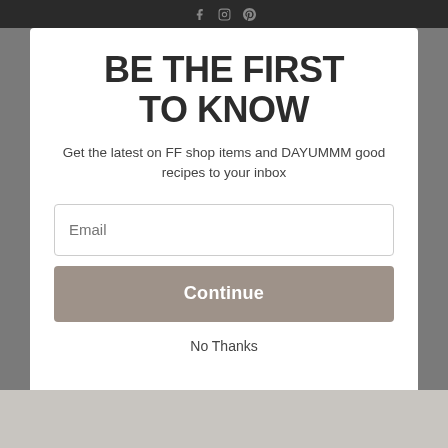Social media icons (Facebook, Instagram, Pinterest)
BE THE FIRST TO KNOW
Get the latest on FF shop items and DAYUMMM good recipes to your inbox
Email
Continue
No Thanks